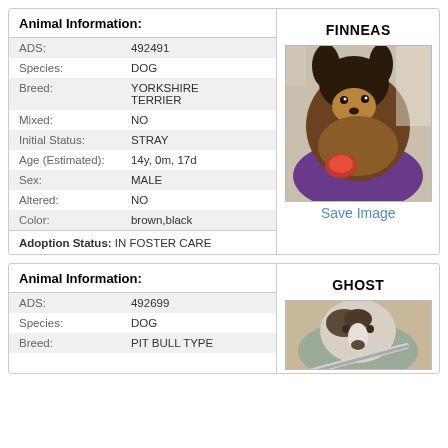FINNEAS
| Field | Value |
| --- | --- |
| ADS: | 492491 |
| Species: | DOG |
| Breed: | YORKSHIRE TERRIER |
| Mixed: | NO |
| Initial Status: | STRAY |
| Age (Estimated): | 14y, 0m, 17d |
| Sex: | MALE |
| Altered: | NO |
| Color: | brown,black |
Adoption Status: IN FOSTER CARE
[Figure (photo): Photo of Finneas, a Yorkshire Terrier dog with brown and black fur, wearing a purple outfit and playing with a red toy.]
Save Image
GHOST
| Field | Value |
| --- | --- |
| ADS: | 492699 |
| Species: | DOG |
| Breed: | PIT BULL TYPE |
[Figure (photo): Partial photo of Ghost, a Pit Bull Type dog.]